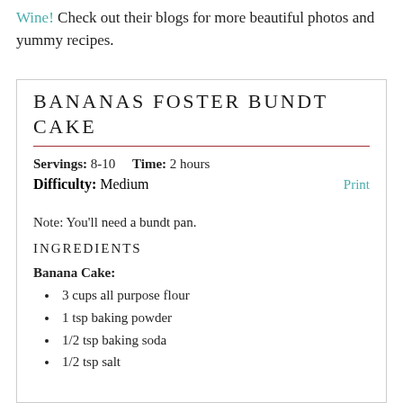Wine! Check out their blogs for more beautiful photos and yummy recipes.
BANANAS FOSTER BUNDT CAKE
Servings: 8-10   Time: 2 hours
Difficulty: Medium   Print
Note: You'll need a bundt pan.
INGREDIENTS
Banana Cake:
3 cups all purpose flour
1 tsp baking powder
1/2 tsp baking soda
1/2 tsp salt